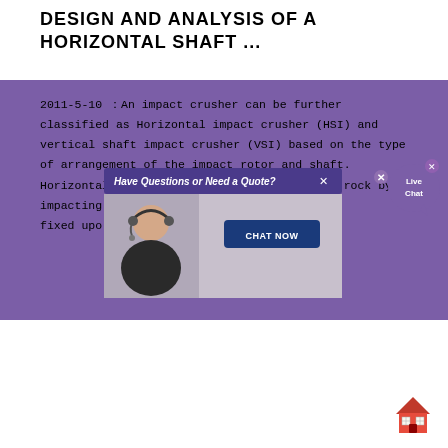DESIGN AND ANALYSIS OF A HORIZONTAL SHAFT ...
2011-5-10 : An impact crusher can be further classified as Horizontal impact crusher (HSI) and vertical shaft impact crusher (VSI) based on the type of arrangement of the impact rotor and shaft. Horizontal shaft impact crusher These break rock by impacting ... that ... fixed upo ... or.
[Figure (screenshot): Live chat popup overlay with 'Have Questions or Need a Quote?' header, a customer service representative photo, and a CHAT NOW button. Also shows a Live Chat speech bubble icon in the top right.]